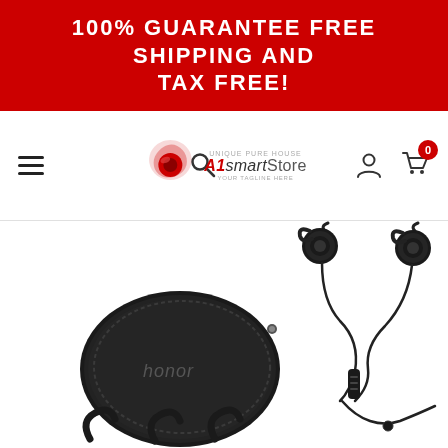100% GUARANTEE FREE SHIPPING AND TAX FREE!
[Figure (logo): A1SmartStore logo with hamburger menu, search icon, user icon, and cart icon with badge showing 0]
[Figure (photo): Honor branded earphones product photo showing black wireless earphones, carrying case with 'honor' text, ear hooks, and inline controls]